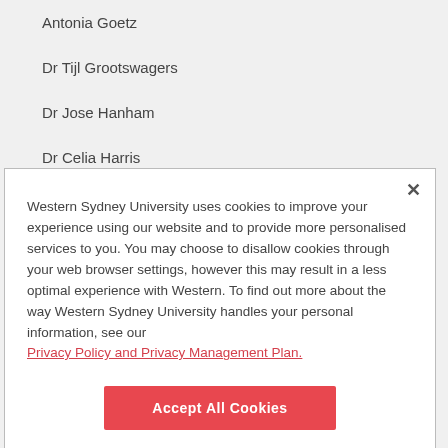Antonia Goetz
Dr Tijl Grootswagers
Dr Jose Hanham
Dr Celia Harris
Dr Clair Hill
Western Sydney University uses cookies to improve your experience using our website and to provide more personalised services to you. You may choose to disallow cookies through your web browser settings, however this may result in a less optimal experience with Western. To find out more about the way Western Sydney University handles your personal information, see our Privacy Policy and Privacy Management Plan.
Accept All Cookies